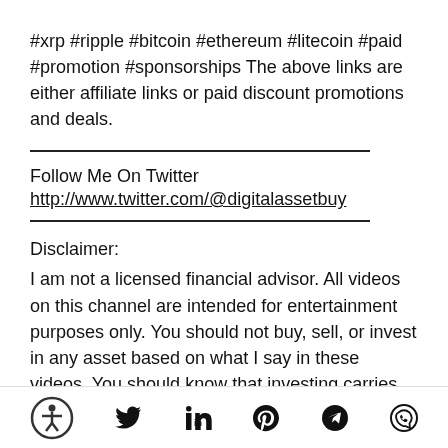#xrp #ripple #bitcoin #ethereum #litecoin #paid #promotion #sponsorships The above links are either affiliate links or paid discount promotions and deals.
Follow Me On Twitter
http://www.twitter.com/@digitalassetbuy
Disclaimer:
I am not a licensed financial advisor. All videos on this channel are intended for entertainment purposes only. You should not buy, sell, or invest in any asset based on what I say in these videos. You should know that investing carries extreme
[accessibility icon] [twitter] [linkedin] [pinterest] [telegram] [whatsapp]